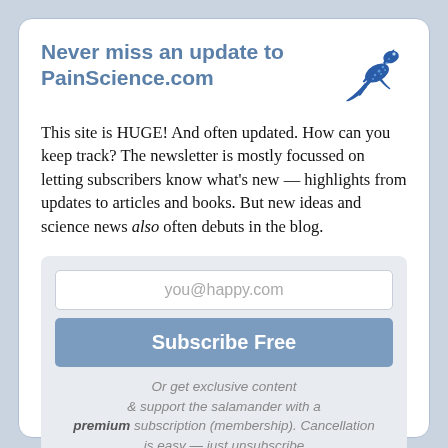Never miss an update to PainScience.com
[Figure (illustration): Blue salamander/gecko logo illustration in top right corner]
This site is HUGE! And often updated. How can you keep track? The newsletter is mostly focussed on letting subscribers know what's new — highlights from updates to articles and books. But new ideas and science news also often debuts in the blog.
you@happy.com
Subscribe Free
Or get exclusive content & support the salamander with a premium subscription (membership). Cancellation is easy — just unsubscribe